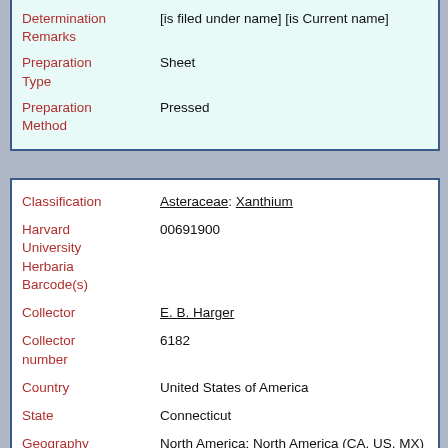| Field | Value |
| --- | --- |
| Determination Remarks | [is filed under name] [is Current name] |
| Preparation Type | Sheet |
| Preparation Method | Pressed |
| Field | Value |
| --- | --- |
| Classification | Asteraceae: Xanthium |
| Harvard University Herbaria Barcode(s) | 00691900 |
| Collector | E. B. Harger |
| Collector number | 6182 |
| Country | United States of America |
| State | Connecticut |
| Geography | North America: North America (CA, US, MX) (Region): United States of America: Connecticut: Hartford County: Rocky Hill |
| Locality | Rocky Hill |